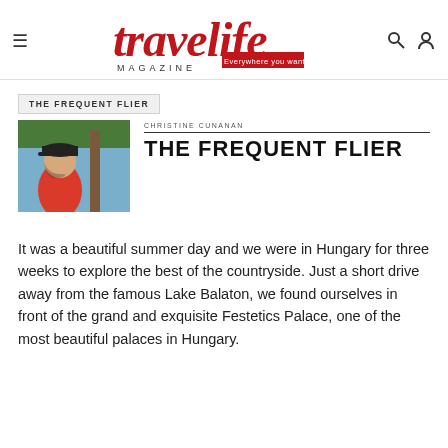travelife MAGAZINE — Everywhere you want to be
THE FREQUENT FLIER
[Figure (photo): Author photo of Christine Cunanan seated outdoors near water, wearing a red top and cap]
THE FREQUENT FLIER
CHRISTINE CUNANAN
It was a beautiful summer day and we were in Hungary for three weeks to explore the best of the countryside. Just a short drive away from the famous Lake Balaton, we found ourselves in front of the grand and exquisite Festetics Palace, one of the most beautiful palaces in Hungary.